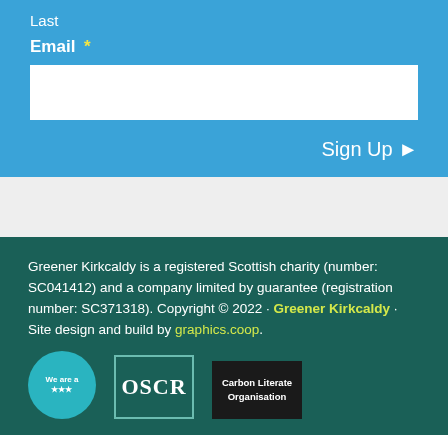Last
Email *
Sign Up ▶
Greener Kirkcaldy is a registered Scottish charity (number: SC041412) and a company limited by guarantee (registration number: SC371318). Copyright © 2022 · Greener Kirkcaldy · Site design and build by graphics.coop.
[Figure (logo): We are a member logo (teal circle)]
[Figure (logo): OSCR logo in teal border]
[Figure (logo): Carbon Literate Organisation dark badge]